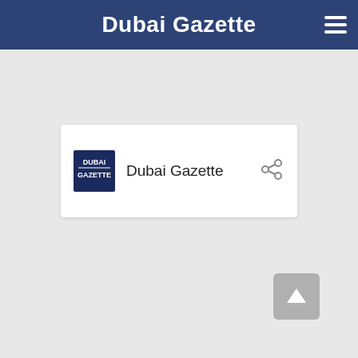Dubai Gazette
[Figure (logo): Dubai Gazette website card showing logo image and name 'Dubai Gazette' with a share icon]
[Figure (other): Back to top button (upward arrow on grey square)]